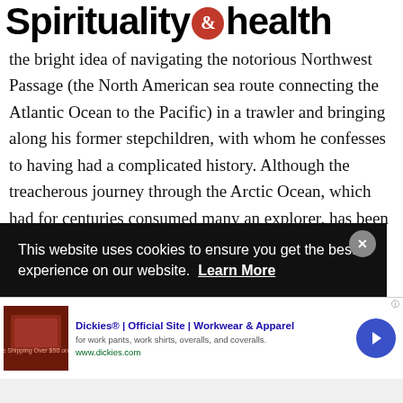Spirituality & Health
the bright idea of navigating the notorious Northwest Passage (the North American sea route connecting the Atlantic Ocean to the Pacific) in a trawler and bringing along his former stepchildren, with whom he confesses to having had a complicated history. Although the treacherous journey through the Arctic Ocean, which had for centuries consumed many an explorer, has been
[Figure (screenshot): Cookie consent banner: 'This website uses cookies to ensure you get the best experience on our website. Learn More' with close button]
[Figure (screenshot): Advertisement banner: Dickies® | Official Site | Workwear & Apparel - for work pants, work shirts, overalls, and coveralls. www.dickies.com]